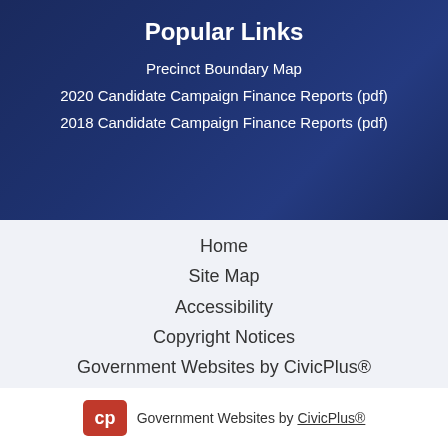Popular Links
Precinct Boundary Map
2020 Candidate Campaign Finance Reports (pdf)
2018 Candidate Campaign Finance Reports (pdf)
Home
Site Map
Accessibility
Copyright Notices
Government Websites by CivicPlus®
Government Websites by CivicPlus®